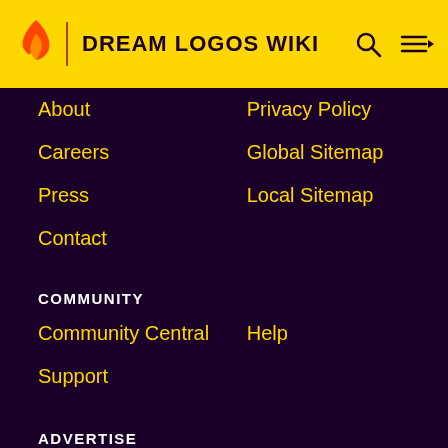DREAM LOGOS WIKI
About
Privacy Policy
Careers
Global Sitemap
Press
Local Sitemap
Contact
COMMUNITY
Community Central
Help
Support
ADVERTISE
Media Kit
Fandomatic